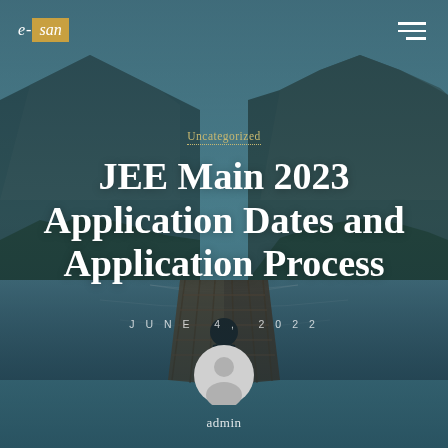[Figure (photo): Background photo of a person sitting at the end of a wooden dock over a calm alpine lake, surrounded by mountains and trees, with a teal/blue-green color tone overlay]
e-san
Uncategorized
JEE Main 2023 Application Dates and Application Process
JUNE 4, 2022
[Figure (illustration): Circular avatar icon with grey silhouette of a person on a light grey background]
admin